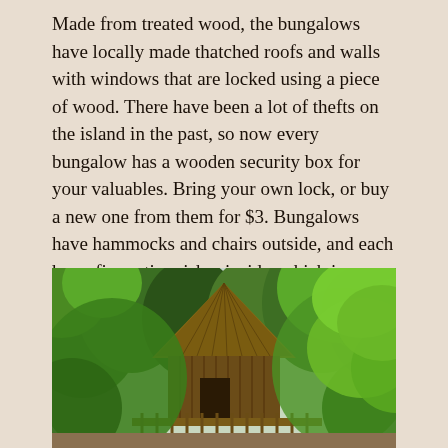Made from treated wood, the bungalows have locally made thatched roofs and walls with windows that are locked using a piece of wood. There have been a lot of thefts on the island in the past, so now every bungalow has a wooden security box for your valuables. Bring your own lock, or buy a new one from them for $3. Bungalows have hammocks and chairs outside, and each has a fire extinguisher inside, which is a welcome amenity on an island that has had several devastating fires.
[Figure (photo): A thatched-roof bungalow surrounded by lush tropical green trees and foliage, with a wooden fence/railing visible at the base. The bungalow has a steep thatched roof and wooden walls, set amid dense vegetation.]